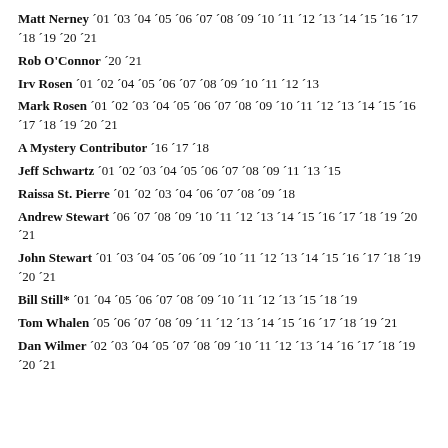Matt Nerney ´01 ´03 ´04 ´05 ´06 ´07 ´08 ´09 ´10 ´11 ´12 ´13 ´14 ´15 ´16 ´17 ´18 ´19 ´20 ´21
Rob O'Connor ´20 ´21
Irv Rosen ´01 ´02 ´04 ´05 ´06 ´07 ´08 ´09 ´10 ´11 ´12 ´13
Mark Rosen ´01 ´02 ´03 ´04 ´05 ´06 ´07 ´08 ´09 ´10 ´11 ´12 ´13 ´14 ´15 ´16 ´17 ´18 ´19 ´20 ´21
A Mystery Contributor ´16 ´17 ´18
Jeff Schwartz ´01 ´02 ´03 ´04 ´05 ´06 ´07 ´08 ´09 ´11 ´13 ´15
Raissa St. Pierre ´01 ´02 ´03 ´04 ´06 ´07 ´08 ´09 ´18
Andrew Stewart ´06 ´07 ´08 ´09 ´10 ´11 ´12 ´13 ´14 ´15 ´16 ´17 ´18 ´19 ´20 ´21
John Stewart ´01 ´03 ´04 ´05 ´06 ´09 ´10 ´11 ´12 ´13 ´14 ´15 ´16 ´17 ´18 ´19 ´20 ´21
Bill Still* ´01 ´04 ´05 ´06 ´07 ´08 ´09 ´10 ´11 ´12 ´13 ´15 ´18 ´19
Tom Whalen ´05 ´06 ´07 ´08 ´09 ´11 ´12 ´13 ´14 ´15 ´16 ´17 ´18 ´19 ´21
Dan Wilmer ´02 ´03 ´04 ´05 ´07 ´08 ´09 ´10 ´11 ´12 ´13 ´14 ´16 ´17 ´18 ´19 ´20 ´21